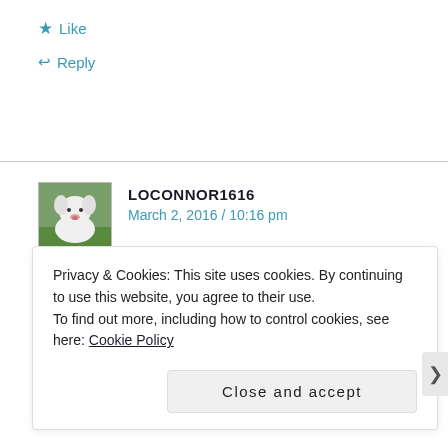★ Like
↩ Reply
LOCONNOR1616
March 2, 2016 / 10:16 pm
Privacy & Cookies: This site uses cookies. By continuing to use this website, you agree to their use.
To find out more, including how to control cookies, see here: Cookie Policy
Close and accept